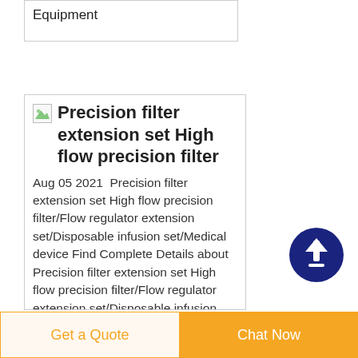Equipment
Precision filter extension set High flow precision filter
Aug 05 2021  Precision filter extension set High flow precision filter/Flow regulator extension set/Disposable infusion set/Medical device Find Complete Details about Precision filter extension set High flow precision filter/Flow regulator extension set/Disposable infusion set/Medical device Oncology
[Figure (other): Scroll-to-top circular button with dark blue background and white upward arrow]
Get a Quote
Chat Now